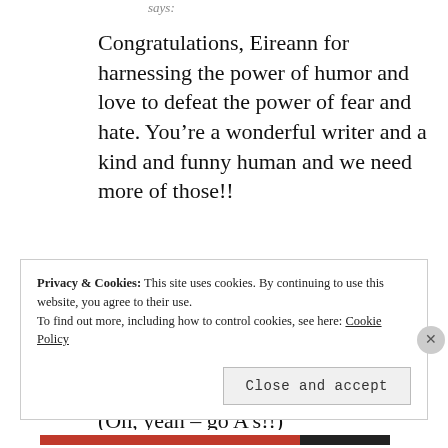says:
Congratulations, Eireann for harnessing the power of humor and love to defeat the power of fear and hate. You’re a wonderful writer and a kind and funny human and we need more of those!!
(Oh, yeah – go A’s!!)
★ Like
Privacy & Cookies: This site uses cookies. By continuing to use this website, you agree to their use.
To find out more, including how to control cookies, see here: Cookie Policy
Close and accept